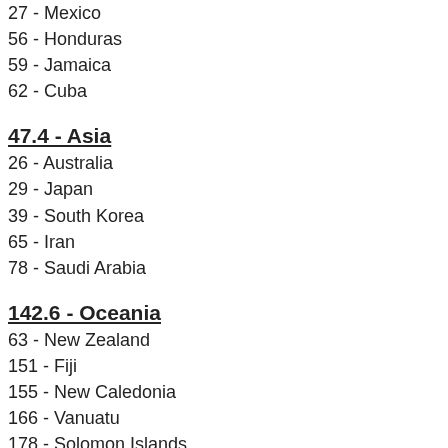27 - Mexico
56 - Honduras
59 - Jamaica
62 - Cuba
47.4 - Asia
26 - Australia
29 - Japan
39 - South Korea
65 - Iran
78 - Saudi Arabia
142.6 - Oceania
63 - New Zealand
151 - Fiji
155 - New Caledonia
166 - Vanuatu
178 - Solomon Islands
Steve at 8:15 AM    No comments:
Share